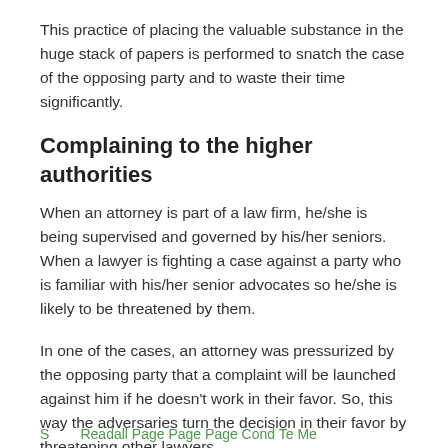This practice of placing the valuable substance in the huge stack of papers is performed to snatch the case of the opposing party and to waste their time significantly.
Complaining to the higher authorities
When an attorney is part of a law firm, he/she is being supervised and governed by his/her seniors. When a lawyer is fighting a case against a party who is familiar with his/her senior advocates so he/she is likely to be threatened by them.
In one of the cases, an attorney was pressurized by the opposing party that a complaint will be launched against him if he doesn't work in their favor. So, this way the adversaries turn the decision in their favor by threatening other lawyers.
S        R    I  P    P    C    T  M  ...